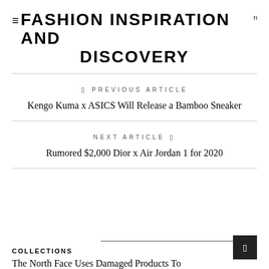≡FASHION INSPIRATION AND DISCOVERY
PREVIOUS ARTICLE
Kengo Kuma x ASICS Will Release a Bamboo Sneaker
NEXT ARTICLE
Rumored $2,000 Dior x Air Jordan 1 for 2020
COLLECTIONS
The North Face Uses Damaged Products To